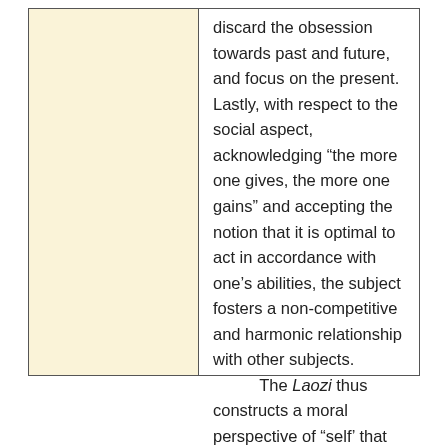discard the obsession towards past and future, and focus on the present. Lastly, with respect to the social aspect, acknowledging “the more one gives, the more one gains” and accepting the notion that it is optimal to act in accordance with one’s abilities, the subject fosters a non-competitive and harmonic relationship with other subjects.
	The Laozi thus constructs a moral perspective of “self’ that does not conflict with the freedom of the subject or the existing structure of society, and that differs from capitalism or abstraction.